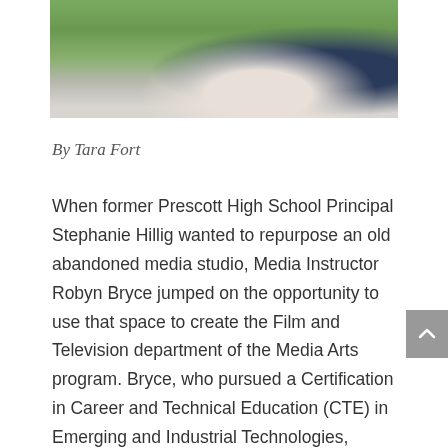[Figure (photo): Partial photo of a person outdoors with green foliage background, cropped at top of page]
By Tara Fort
When former Prescott High School Principal Stephanie Hillig wanted to repurpose an old abandoned media studio, Media Instructor Robyn Bryce jumped on the opportunity to use that space to create the Film and Television department of the Media Arts program. Bryce, who pursued a Certification in Career and Technical Education (CTE) in Emerging and Industrial Technologies, began the program in 2014 and says, “The program has grown roughly 300% since its inception and now the